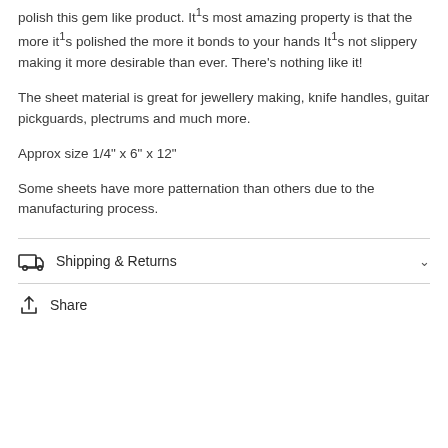polish this gem like product. It's most amazing property is that the more it's polished the more it bonds to your hands It's not slippery making it more desirable than ever. There's nothing like it!
The sheet material is great for jewellery making, knife handles, guitar pickguards, plectrums and much more.
Approx size 1/4" x 6" x 12"
Some sheets have more patternation than others due to the manufacturing process.
Shipping & Returns
Share